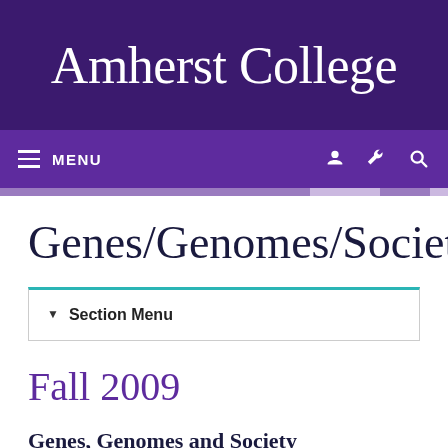Amherst College
MENU
Genes/Genomes/Society
Section Menu
Fall 2009
Genes, Genomes and Society